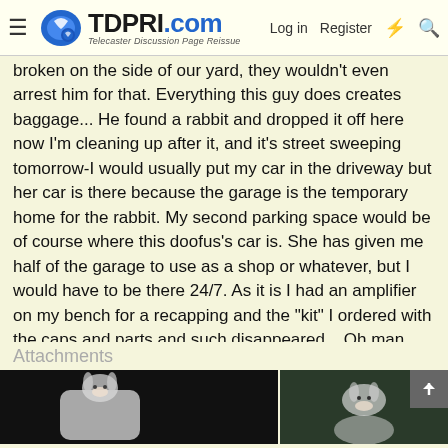TDPRI.com — Telecaster Discussion Page Reissue — Log in | Register
broken on the side of our yard, they wouldn't even arrest him for that. Everything this guy does creates baggage... He found a rabbit and dropped it off here now I'm cleaning up after it, and it's street sweeping tomorrow-I would usually put my car in the driveway but her car is there because the garage is the temporary home for the rabbit. My second parking space would be of course where this doofus's car is. She has given me half of the garage to use as a shop or whatever, but I would have to be there 24/7. As it is I had an amplifier on my bench for a recapping and the "kit" I ordered with the caps and parts and such disappeared... Oh man you started this but I could go on and on, haha. I'll go grab a picture of the rabbit to end on a more fun note, before I keep snowballing...hey! That'll be extra funny when you see the rabbit. At least it's domesticated/tame, and actually goes to the bathroom in a cat box, I didn't even know they do that. Trying to find a home for it now.
Attachments
[Figure (photo): Two photos of a rabbit shown side by side as attachments. Left photo shows a rabbit against a dark background. Right photo shows another view of the rabbit.]